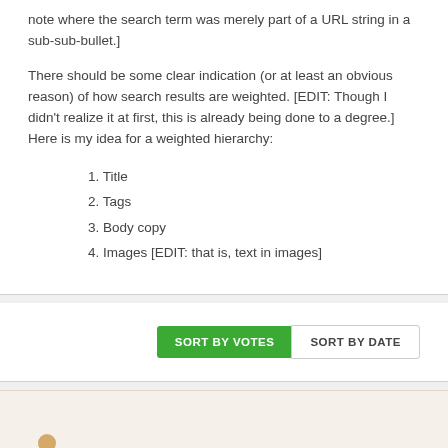note where the search term was merely part of a URL string in a sub-sub-bullet.]
There should be some clear indication (or at least an obvious reason) of how search results are weighted. [EDIT: Though I didn't realize it at first, this is already being done to a degree.] Here is my idea for a weighted hierarchy:
1. Title
2. Tags
3. Body copy
4. Images [EDIT: that is, text in images]
[Figure (screenshot): Sort by Votes and Sort by Date buttons]
[Figure (screenshot): Bottom section with beige background, partial avatar visible]